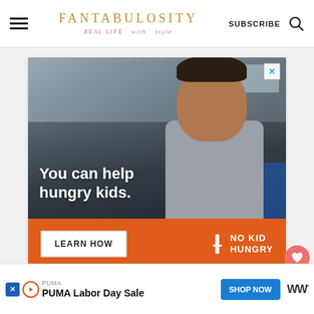FANTABULOSITY — REAL LIFE with style — SUBSCRIBE
[Figure (photo): Advertisement showing a young boy eating a piece of food in a classroom setting, with overlay text 'You can help hungry kids.' and a No Kid Hungry call-to-action with LEARN HOW button on an orange background bar]
[Figure (screenshot): Bottom banner advertisement for PUMA Labor Day Sale with SHOP NOW button in blue, and a WW logo on the right]